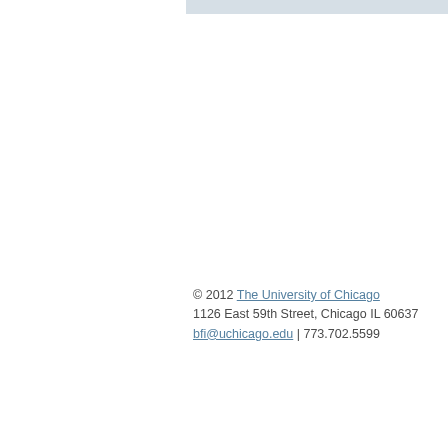© 2012 The University of Chicago
1126 East 59th Street, Chicago IL 60637
bfi@uchicago.edu | 773.702.5599